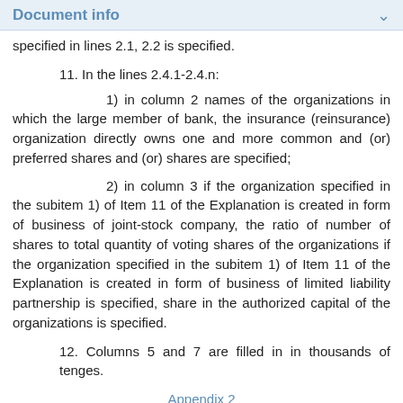Document info
specified in lines 2.1, 2.2 is specified.
11. In the lines 2.4.1-2.4.n:
1) in column 2 names of the organizations in which the large member of bank, the insurance (reinsurance) organization directly owns one and more common and (or) preferred shares and (or) shares are specified;
2) in column 3 if the organization specified in the subitem 1) of Item 11 of the Explanation is created in form of business of joint-stock company, the ratio of number of shares to total quantity of voting shares of the organizations if the organization specified in the subitem 1) of Item 11 of the Explanation is created in form of business of limited liability partnership is specified, share in the authorized capital of the organizations is specified.
12. Columns 5 and 7 are filled in in thousands of tenges.
Appendix 2